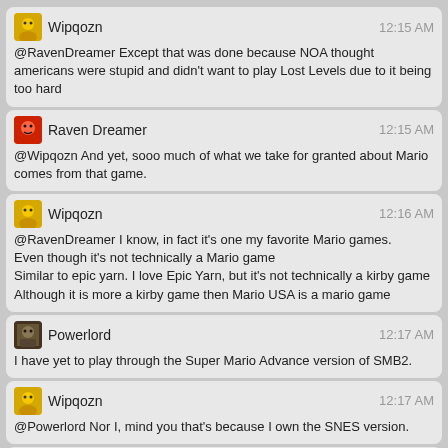Wipqozn 12:15 AM
@RavenDreamer Except that was done because NOA thought americans were stupid and didn't want to play Lost Levels due to it being too hard
Raven Dreamer 12:15 AM
@Wipqozn And yet, sooo much of what we take for granted about Mario comes from that game.
Wipqozn 12:16 AM
@RavenDreamer I know, in fact it's one my favorite Mario games.
Even though it's not technically a Mario game
Similar to epic yarn. I love Epic Yarn, but it's not technically a kirby game
Although it is more a kirby game then Mario USA is a mario game
Powerlord 12:17 AM
I have yet to play through the Super Mario Advance version of SMB2.
Wipqozn 12:17 AM
@Powerlord Nor I, mind you that's because I own the SNES version.
Powerlord 12:17 AM
I heard they added some new bosses, like Robirdo
Raven Dreamer 12:19 AM
I want a new 2d metroid game, too
Other: M was a fine game, but it wasn't a 2d Metroid
(GAMEwise, not PLOTwise)